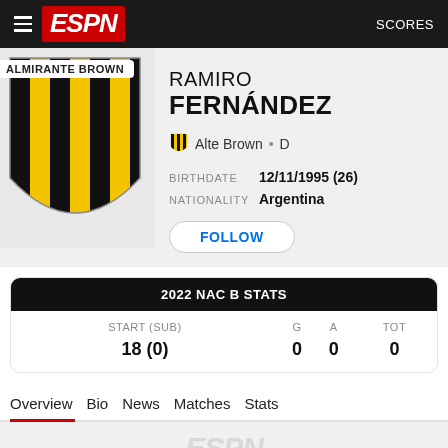ESPN  SCORES
[Figure (logo): Almirante Brown football club crest with black and yellow vertical stripes]
RAMIRO FERNÁNDEZ
Alte Brown • D
BIRTHDATE  12/11/1995 (26)
NATIONALITY  Argentina
FOLLOW
| START (SUB) | G | A | TOT |
| --- | --- | --- | --- |
| 18 (0) | 0 | 0 | 0 |
Overview  Bio  News  Matches  Stats